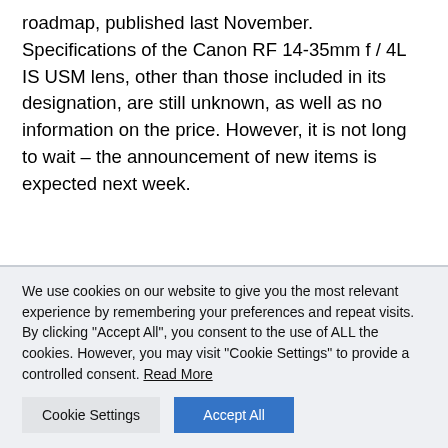roadmap, published last November. Specifications of the Canon RF 14-35mm f / 4L IS USM lens, other than those included in its designation, are still unknown, as well as no information on the price. However, it is not long to wait – the announcement of new items is expected next week.
We use cookies on our website to give you the most relevant experience by remembering your preferences and repeat visits. By clicking "Accept All", you consent to the use of ALL the cookies. However, you may visit "Cookie Settings" to provide a controlled consent. Read More